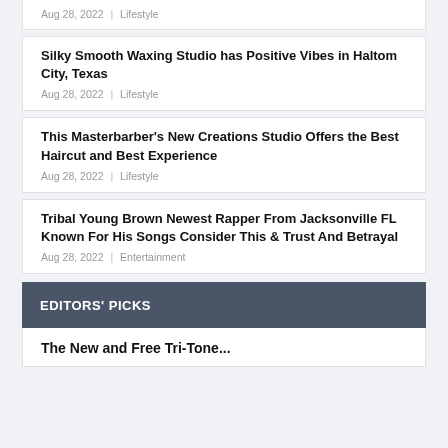Aug 28, 2022 | Lifestyle
Silky Smooth Waxing Studio has Positive Vibes in Haltom City, Texas
Aug 28, 2022 | Lifestyle
This Masterbarber's New Creations Studio Offers the Best Haircut and Best Experience
Aug 28, 2022 | Lifestyle
Tribal Young Brown Newest Rapper From Jacksonville FL Known For His Songs Consider This & Trust And Betrayal
Aug 28, 2022 | Entertainment
EDITORS' PICKS
The New and Free Tri-Tone...